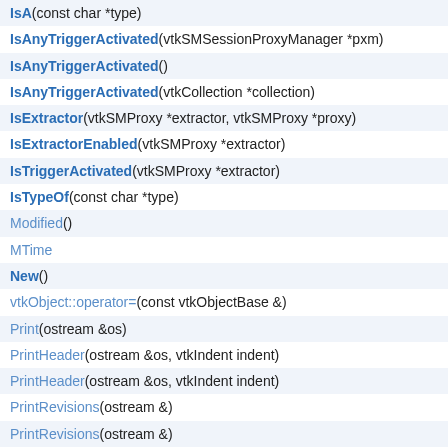IsA(const char *type)
IsAnyTriggerActivated(vtkSMSessionProxyManager *pxm)
IsAnyTriggerActivated()
IsAnyTriggerActivated(vtkCollection *collection)
IsExtractor(vtkSMProxy *extractor, vtkSMProxy *proxy)
IsExtractorEnabled(vtkSMProxy *extractor)
IsTriggerActivated(vtkSMProxy *extractor)
IsTypeOf(const char *type)
Modified()
MTime
New()
vtkObject::operator=(const vtkObjectBase &)
Print(ostream &os)
PrintHeader(ostream &os, vtkIndent indent)
PrintHeader(ostream &os, vtkIndent indent)
PrintRevisions(ostream &)
PrintRevisions(ostream &)
PrintSelf(ostream &os, vtkIndent indent) override
PrintTrailer(ostream &os, vtkIndent indent)
PrintTrailer(ostream &os, vtkIndent indent)
ReferenceCount
Register(vtkObjectBase *)